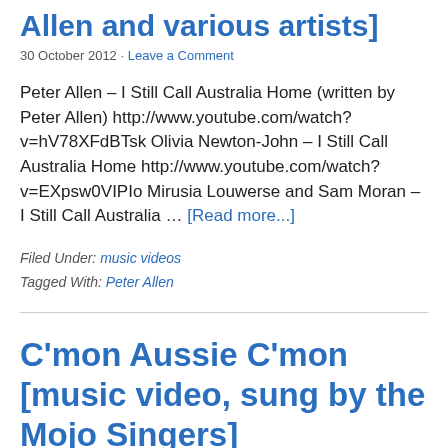Allen and various artists]
30 October 2012 · Leave a Comment
Peter Allen – I Still Call Australia Home (written by Peter Allen) http://www.youtube.com/watch?v=hV78XFdBTsk Olivia Newton-John – I Still Call Australia Home http://www.youtube.com/watch?v=EXpsw0VIPIo Mirusia Louwerse and Sam Moran – I Still Call Australia … [Read more...]
Filed Under: music videos
Tagged With: Peter Allen
C'mon Aussie C'mon [music video, sung by the Mojo Singers]